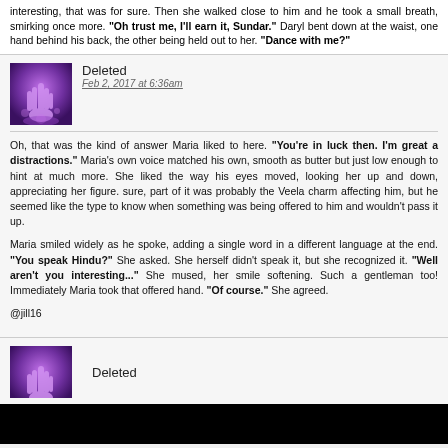interesting, that was for sure. Then she walked close to him and he took a small breath, smirking once more. "Oh trust me, I'll earn it, Sundar." Daryl bent down at the waist, one hand behind his back, the other being held out to her. "Dance with me?"
Deleted
Feb 2, 2017 at 6:36am
Oh, that was the kind of answer Maria liked to here. "You're in luck then. I'm great a distractions." Maria's own voice matched his own, smooth as butter but just low enough to hint at much more. She liked the way his eyes moved, looking her up and down, appreciating her figure. sure, part of it was probably the Veela charm affecting him, but he seemed like the type to know when something was being offered to him and wouldn't pass it up.

Maria smiled widely as he spoke, adding a single word in a different language at the end. "You speak Hindu?" She asked. She herself didn't speak it, but she recognized it. "Well aren't you interesting..." She mused, her smile softening. Such a gentleman too! Immediately Maria took that offered hand. "Of course." She agreed.

@jill16
Deleted